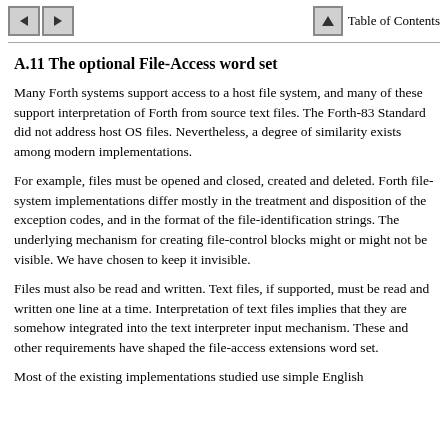Table of Contents
A.11 The optional File-Access word set
Many Forth systems support access to a host file system, and many of these support interpretation of Forth from source text files. The Forth-83 Standard did not address host OS files. Nevertheless, a degree of similarity exists among modern implementations.
For example, files must be opened and closed, created and deleted. Forth file-system implementations differ mostly in the treatment and disposition of the exception codes, and in the format of the file-identification strings. The underlying mechanism for creating file-control blocks might or might not be visible. We have chosen to keep it invisible.
Files must also be read and written. Text files, if supported, must be read and written one line at a time. Interpretation of text files implies that they are somehow integrated into the text interpreter input mechanism. These and other requirements have shaped the file-access extensions word set.
Most of the existing implementations studied use simple English...